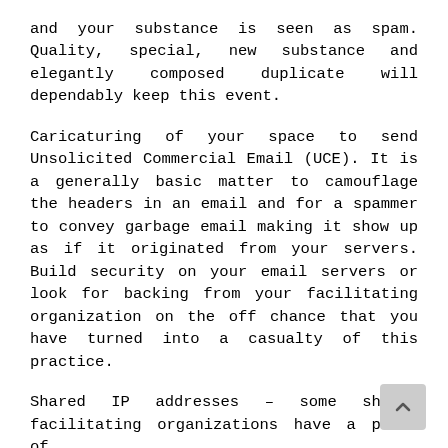and your substance is seen as spam. Quality, special, new substance and elegantly composed duplicate will dependably keep this event.
Caricaturing of your space to send Unsolicited Commercial Email (UCE). It is a generally basic matter to camouflage the headers in an email and for a spammer to convey garbage email making it show up as if it originated from your servers. Build security on your email servers or look for backing from your facilitating organization on the off chance that you have turned into a casualty of this practice.
Shared IP addresses – some shoddy facilitating organizations have a piece of